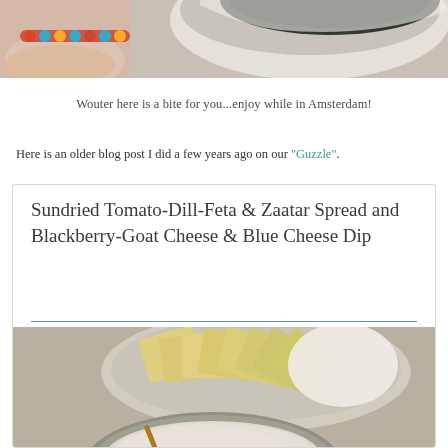[Figure (photo): Top portion of a photo showing a bowl with dark contents (possibly a dip or sauce) and a colorful beaded bracelet on someone's wrist, against a light background]
Wouter here is a bite for you...enjoy while in Amsterdam!
Here is an older blog post I did a few years ago on our “Guzzle”.
Sundried Tomato-Dill-Feta & Zaatar Spread and Blackberry-Goat Cheese & Blue Cheese Dip
[Figure (photo): Photo of two bowls - one with crackers and one with a creamy dip, with a wooden chopstick or skewer]